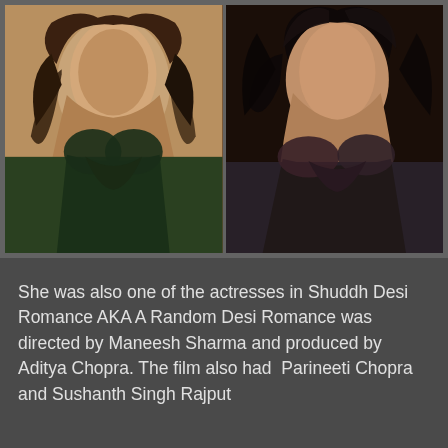[Figure (photo): Two side-by-side photos of women. Left photo shows a woman with wavy brown hair wearing a dark green outfit. Right photo shows a woman with dark curly hair wearing a grey/purple top.]
She was also one of the actresses in Shuddh Desi Romance AKA A Random Desi Romance was directed by Maneesh Sharma and produced by Aditya Chopra. The film also had  Parineeti Chopra and Sushanth Singh Rajput